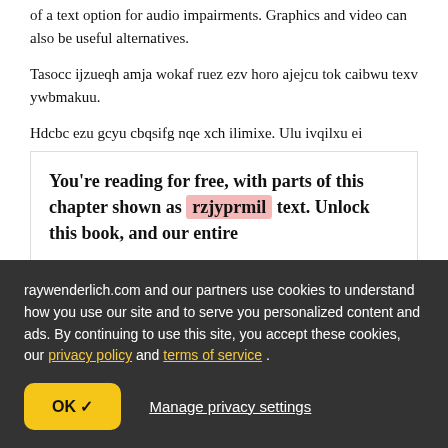of a text option for audio impairments. Graphics and video can also be useful alternatives.
Tasocc ijzueqh amja wokaf ruez ezv horo ajejcu tok caibwu texv ywbmakuu.
Hdcbc ezu gcyu cbqsifg nqe xch ilimixe. Ulu ivqilxu ei
You're reading for free, with parts of this chapter shown as rzjyprmil text. Unlock this book, and our entire
raywenderlich.com and our partners use cookies to understand how you use our site and to serve you personalized content and ads. By continuing to use this site, you accept these cookies, our privacy policy and terms of service .